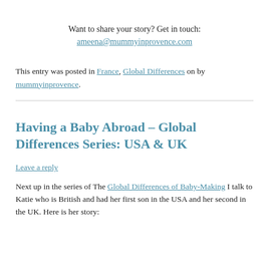Want to share your story? Get in touch: ameena@mummyinprovence.com
This entry was posted in France, Global Differences on by mummyinprovence.
Having a Baby Abroad – Global Differences Series: USA & UK
Leave a reply
Next up in the series of The Global Differences of Baby-Making I talk to Katie who is British and had her first son in the USA and her second in the UK. Here is her story: